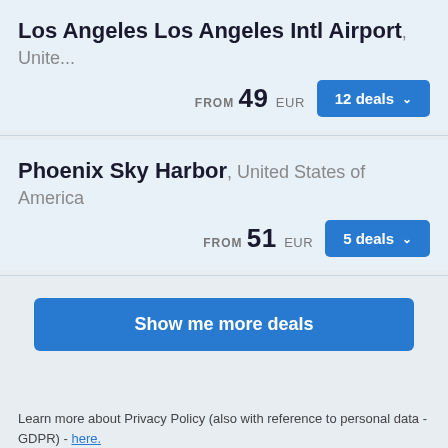Los Angeles Los Angeles Intl Airport, Unite...
FROM 49 EUR
12 deals
Phoenix Sky Harbor, United States of America
FROM 51 EUR
5 deals
Show me more deals
Learn more about Privacy Policy (also with reference to personal data - GDPR) - here.
Accept